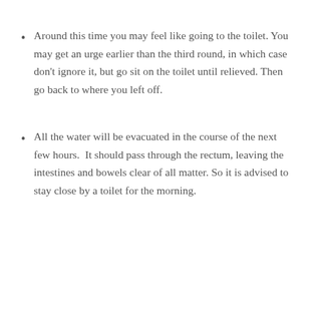Around this time you may feel like going to the toilet. You may get an urge earlier than the third round, in which case don't ignore it, but go sit on the toilet until relieved. Then go back to where you left off.
All the water will be evacuated in the course of the next few hours.  It should pass through the rectum, leaving the intestines and bowels clear of all matter. So it is advised to stay close by a toilet for the morning.